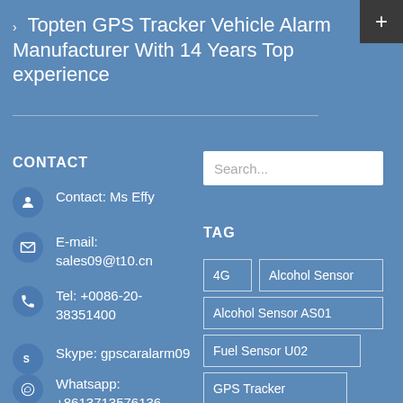› Topten GPS Tracker Vehicle Alarm Manufacturer With 14 Years Top experience
CONTACT
Contact:  Ms Effy
E-mail: sales09@t10.cn
Tel: +0086-20-38351400
Skype: gpscaralarm09
Whatsapp: +8613713576136
TAG
4G
Alcohol Sensor
Alcohol Sensor AS01
Fuel Sensor U02
GPS Tracker